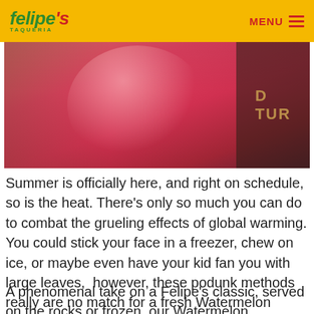Felipe's Taqueria — MENU
[Figure (photo): Close-up photo of a red/pink watermelon margarita drink in a glass, with a dark background label area showing partial text 'D TUR' on the right side.]
Summer is officially here, and right on schedule, so is the heat. There's only so much you can do to combat the grueling effects of global warming. You could stick your face in a freezer, chew on ice, or maybe even have your kid fan you with large leaves, however, these podunk methods really are no match for a fresh Watermelon Margarita from Felipe's.
A phenomenal take on a Felipe's classic, served on the rocks or frozen, our Watermelon